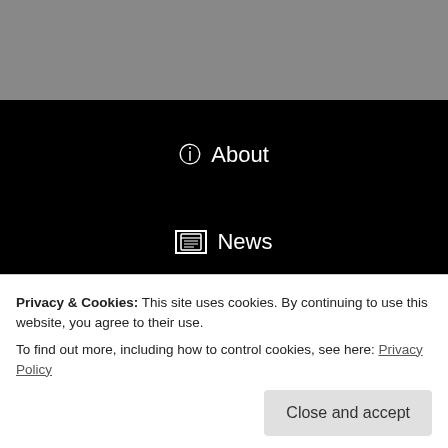[Figure (screenshot): Gray header bar at top of page]
ⓘ About
▦ News
◎ Support Us
Privacy & Cookies: This site uses cookies. By continuing to use this website, you agree to their use.
To find out more, including how to control cookies, see here: Privacy Policy
Close and accept
✦ Browse